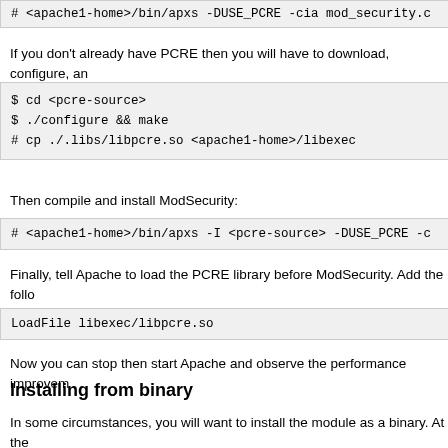# <apache1-home>/bin/apxs -DUSE_PCRE -cia mod_security.c
If you don't already have PCRE then you will have to download, configure, an
$ cd <pcre-source>
$ ./configure && make
# cp ./.libs/libpcre.so <apache1-home>/libexec
Then compile and install ModSecurity:
# <apache1-home>/bin/apxs -I <pcre-source> -DUSE_PCRE -c
Finally, tell Apache to load the PCRE library before ModSecurity. Add the follo
(LoadModule ...):
LoadFile libexec/libpcre.so
Now you can stop then start Apache and observe the performance improvem
Installing from binary
In some circumstances, you will want to install the module as a binary. At the
download. When installing from binary you are likely to have two DSO libraries